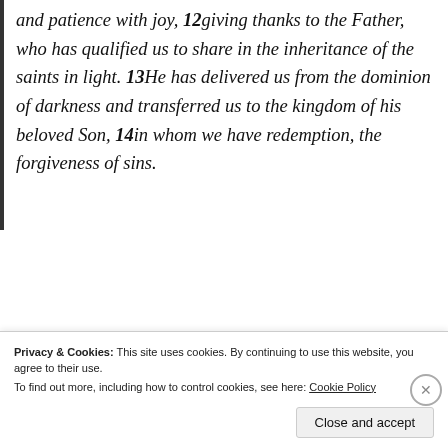and patience with joy, 12giving thanks to the Father, who has qualified us to share in the inheritance of the saints in light. 13He has delivered us from the dominion of darkness and transferred us to the kingdom of his beloved Son, 14in whom we have redemption, the forgiveness of sins.
[Figure (other): WordPress VIP advertisement banner showing 'Important Content' and 'WP vip' logo with 'Learn more' button, overlaid on colorful product/label background with Merck branding]
Privacy & Cookies: This site uses cookies. By continuing to use this website, you agree to their use.
To find out more, including how to control cookies, see here: Cookie Policy